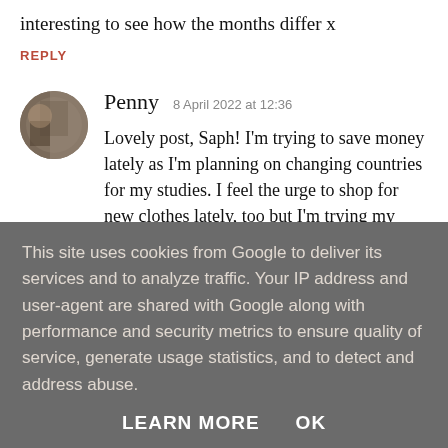interesting to see how the months differ x
REPLY
Penny  8 April 2022 at 12:36
Lovely post, Saph! I'm trying to save money lately as I'm planning on changing countries for my studies. I feel the urge to shop for new clothes lately, too but I'm trying my best to not :D Thank you so much for sharing xx Penny / www.whatdidshetype.com
REPLY
This site uses cookies from Google to deliver its services and to analyze traffic. Your IP address and user-agent are shared with Google along with performance and security metrics to ensure quality of service, generate usage statistics, and to detect and address abuse.
LEARN MORE   OK